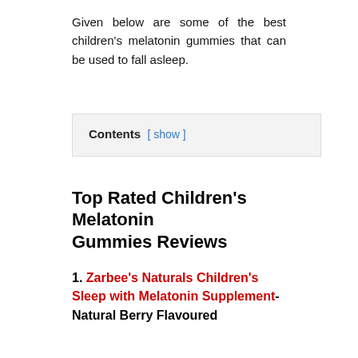Given below are some of the best children's melatonin gummies that can be used to fall asleep.
Contents [ show ]
Top Rated Children's Melatonin Gummies Reviews
1. Zarbee's Naturals Children's Sleep with Melatonin Supplement-Natural Berry Flavoured